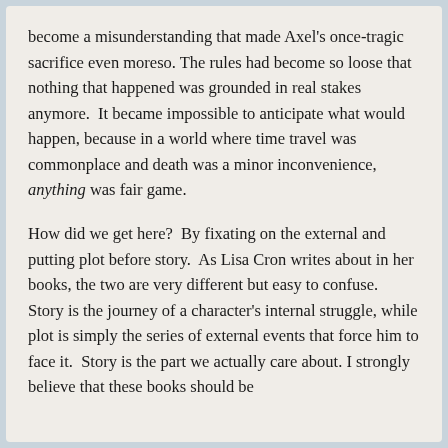become a misunderstanding that made Axel's once-tragic sacrifice even moreso. The rules had become so loose that nothing that happened was grounded in real stakes anymore.  It became impossible to anticipate what would happen, because in a world where time travel was commonplace and death was a minor inconvenience, anything was fair game.
How did we get here?  By fixating on the external and putting plot before story.  As Lisa Cron writes about in her books, the two are very different but easy to confuse.  Story is the journey of a character's internal struggle, while plot is simply the series of external events that force him to face it.  Story is the part we actually care about. I strongly believe that these books should be